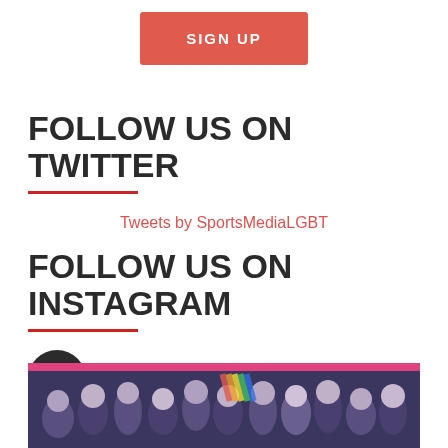SIGN UP
FOLLOW US ON TWITTER
Tweets by SportsMediaLGBT
FOLLOW US ON INSTAGRAM
sportsmedialgbt
[Figure (photo): Group photo of people celebrating at an event, pink border/background visible at bottom of page]